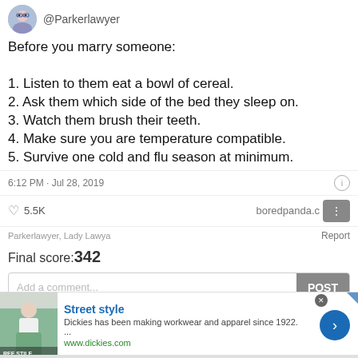[Figure (screenshot): Twitter/social media post screenshot with avatar and handle @Parkerlawyer]
Before you marry someone:
1. Listen to them eat a bowl of cereal.
2. Ask them which side of the bed they sleep on.
3. Watch them brush their teeth.
4. Make sure you are temperature compatible.
5. Survive one cold and flu season at minimum.
6:12 PM · Jul 28, 2019
5.5K   boredpanda.com
Parkerlawyer, Lady Lawya   Report
Final score:342
Add a comment...   POST
[Figure (screenshot): Advertisement for Dickies: Street style. Dickies has been making workwear and apparel since 1922. www.dickies.com]